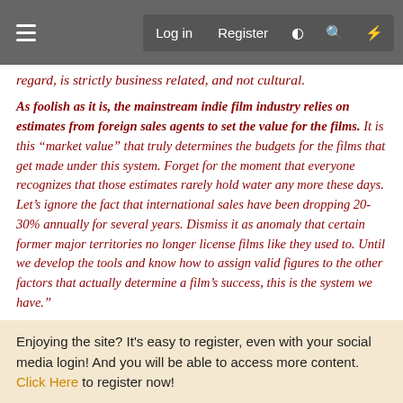Log in  Register
regard, is strictly business related, and not cultural.
As foolish as it is, the mainstream indie film industry relies on estimates from foreign sales agents to set the value for the films. It is this “market value” that truly determines the budgets for the films that get made under this system. Forget for the moment that everyone recognizes that those estimates rarely hold water any more these days. Let’s ignore the fact that international sales have been dropping 20-30% annually for several years. Dismiss it as anomaly that certain former major territories no longer license films like they used to. Until we develop the tools and know how to assign valid figures to the other factors that actually determine a film’s success, this is the system we have.”
Enjoying the site? It’s easy to register, even with your social media login! And you will be able to access more content. Click Here to register now!